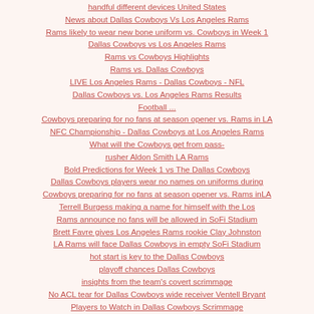handful different devices United States
News about Dallas Cowboys Vs Los Angeles Rams
Rams likely to wear new bone uniform vs. Cowboys in Week 1
Dallas Cowboys vs Los Angeles Rams
Rams vs Cowboys Highlights
Rams vs. Dallas Cowboys
LIVE Los Angeles Rams - Dallas Cowboys - NFL
Dallas Cowboys vs. Los Angeles Rams Results
Football ...
Cowboys preparing for no fans at season opener vs. Rams in LA
NFC Championship - Dallas Cowboys at Los Angeles Rams
What will the Cowboys get from pass-rusher Aldon Smith LA Rams
Bold Predictions for Week 1 vs The Dallas Cowboys
Dallas Cowboys players wear no names on uniforms during
Cowboys preparing for no fans at season opener vs. Rams inLA
Terrell Burgess making a name for himself with the Los
Rams announce no fans will be allowed in SoFi Stadium
Brett Favre gives Los Angeles Rams rookie Clay Johnston
LA Rams will face Dallas Cowboys in empty SoFi Stadium
hot start is key to the Dallas Cowboys
playoff chances Dallas Cowboys
insights from the team's covert scrimmage
No ACL tear for Dallas Cowboys wide receiver Ventell Bryant
Players to Watch in Dallas Cowboys Scrimmage
SoFi Stadium
New Home Of Los Angeles Rams & Chargers
Cowboys Hold Scrimmage with No Jersey Numbers
LA Rams Season Opens Empty SoFi
Cowboys scrimmaged without jersey numbers
why First look
Cowboys practice airing live on KBVO-TV C-USA power rankings UAB tops the list heading
Conference USA adopts testing policies football
Conference USA football
TV schedule announcement C-USA announces
Football Broadcast Schedule UTEP